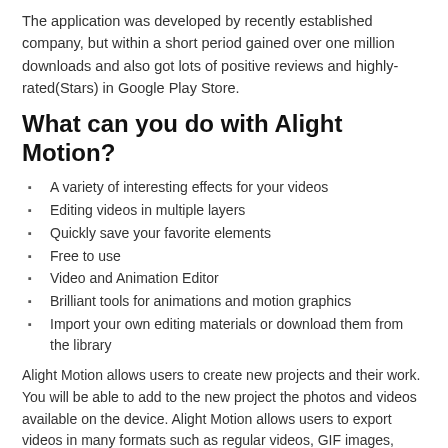The application was developed by recently established company, but within a short period gained over one million downloads and also got lots of positive reviews and highly-rated(Stars) in Google Play Store.
What can you do with Alight Motion?
A variety of interesting effects for your videos
Editing videos in multiple layers
Quickly save your favorite elements
Free to use
Video and Animation Editor
Brilliant tools for animations and motion graphics
Import your own editing materials or download them from the library
Alight Motion allows users to create new projects and their work. You will be able to add to the new project the photos and videos available on the device. Alight Motion allows users to export videos in many formats such as regular videos, GIF images, Image sequence, Project Package and PNG images. Alight Motion also provides distortion